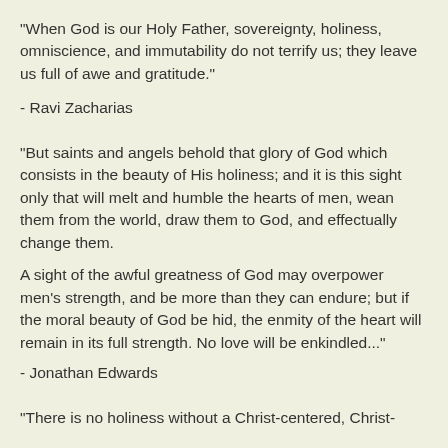"When God is our Holy Father, sovereignty, holiness, omniscience, and immutability do not terrify us; they leave us full of awe and gratitude."
- Ravi Zacharias
"But saints and angels behold that glory of God which consists in the beauty of His holiness; and it is this sight only that will melt and humble the hearts of men, wean them from the world, draw them to God, and effectually change them.

A sight of the awful greatness of God may overpower men's strength, and be more than they can endure; but if the moral beauty of God be hid, the enmity of the heart will remain in its full strength. No love will be enkindled..."
- Jonathan Edwards
"There is no holiness without a Christ-centered, Christ-